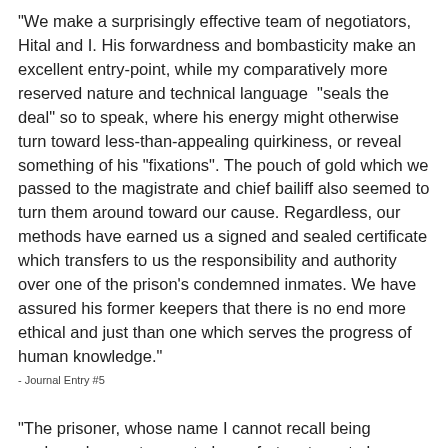"We make a surprisingly effective team of negotiators, Hital and I. His forwardness and bombasticity make an excellent entry-point, while my comparatively more reserved nature and technical language  "seals the deal" so to speak, where his energy might otherwise turn toward less-than-appealing quirkiness, or reveal something of his "fixations". The pouch of gold which we passed to the magistrate and chief bailiff also seemed to turn them around toward our cause. Regardless, our methods have earned us a signed and sealed certificate which transfers to us the responsibility and authority over one of the prison's condemned inmates. We have assured his former keepers that there is no end more ethical and just than one which serves the progress of human knowledge."
- Journal Entry #5
"The prisoner, whose name I cannot recall being spoken, does not seem to be so fortunate as to be bilingual. This tells me that he belonged to the somewhat plebeian majority back home, and likely would not be a terribly good source of intellectual stimulation in conversation. This is just as well.